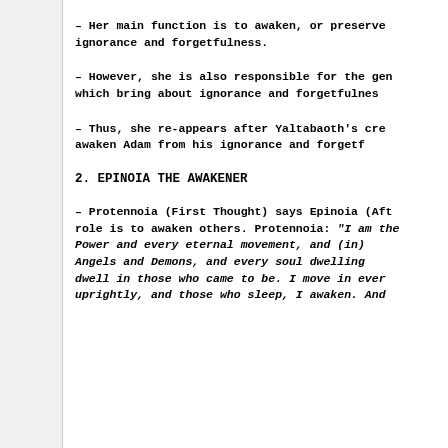- Her main function is to awaken, or preserve ignorance and forgetfulness.
- However, she is also responsible for the gen which bring about ignorance and forgetfulness.
- Thus, she re-appears after Yaltabaoth's cre awaken Adam from his ignorance and forgetf
2. EPINOIA THE AWAKENER
- Protennoia (First Thought) says Epinoia (Aft role is to awaken others. Protennoia: "I am the Power and every eternal movement, and (in) Angels and Demons, and every soul dwelling dwell in those who came to be. I move in ever uprightly, and those who sleep, I awaken. And